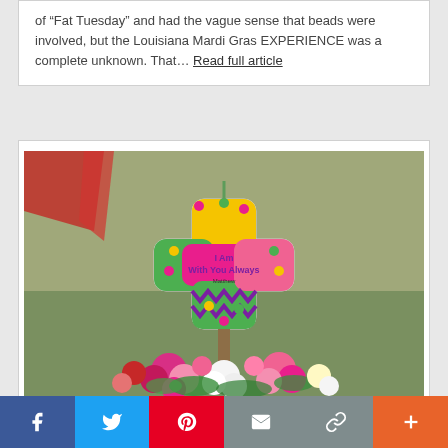of “Fat Tuesday” and had the vague sense that beads were involved, but the Louisiana Mardi Gras EXPERIENCE was a complete unknown. That… Read full article
[Figure (photo): A colorful decorative cross with the text 'I Am With You Always' in pink, yellow, green, and purple Mardi Gras colors, displayed on a stake in a garden surrounded by pink and white flowers.]
Facebook | Twitter | Pinterest | Email | Link | Plus